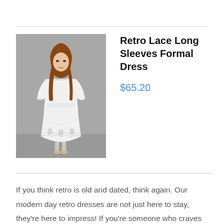[Figure (photo): A woman wearing a white retro lace long sleeve formal dress, standing against a grey background]
Retro Lace Long Sleeves Formal Dress
$65.20
If you think retro is old and dated, think again. Our modern day retro dresses are not just here to stay, they're here to impress! If you're someone who craves dresses with a touch of elegance and sophistication, then you'll love what we have in store for you. Our vintage style